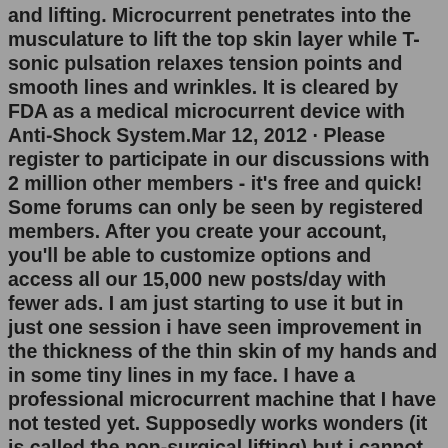and lifting. Microcurrent penetrates into the musculature to lift the top skin layer while T-sonic pulsation relaxes tension points and smooth lines and wrinkles. It is cleared by FDA as a medical microcurrent device with Anti-Shock System.Mar 12, 2012 · Please register to participate in our discussions with 2 million other members - it's free and quick! Some forums can only be seen by registered members. After you create your account, you'll be able to customize options and access all our 15,000 new posts/day with fewer ads. I am just starting to use it but in just one session i have seen improvement in the thickness of the thin skin of my hands and in some tiny lines in my face. I have a professional microcurrent machine that I have not tested yet. Supposedly works wonders (it is called the non-surgical lifting) but i cannot help with that at the moment.I have had some serious side effects where there is fluid built up in eye, subconjunctive hemorrhage in eye, swelling under eye and face, inflammed nerves all around face and inside mouth